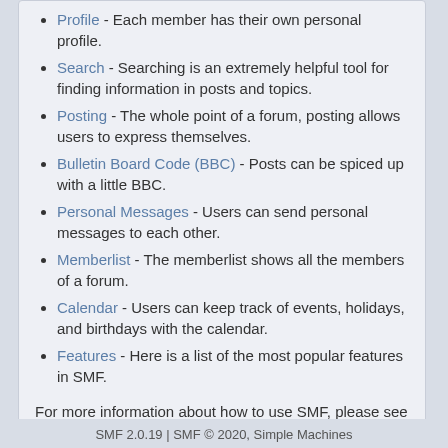Profile - Each member has their own personal profile.
Search - Searching is an extremely helpful tool for finding information in posts and topics.
Posting - The whole point of a forum, posting allows users to express themselves.
Bulletin Board Code (BBC) - Posts can be spiced up with a little BBC.
Personal Messages - Users can send personal messages to each other.
Memberlist - The memberlist shows all the members of a forum.
Calendar - Users can keep track of events, holidays, and birthdays with the calendar.
Features - Here is a list of the most popular features in SMF.
For more information about how to use SMF, please see the Simple Machines Documentation Wiki and check out the credits to find out who has made SMF what it is today.
SMF 2.0.19 | SMF © 2020, Simple Machines